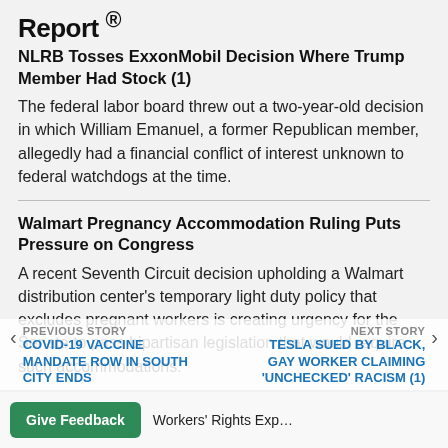Report ®
NLRB Tosses ExxonMobil Decision Where Trump Member Had Stock (1)
The federal labor board threw out a two-year-old decision in which William Emanuel, a former Republican member, allegedly had a financial conflict of interest unknown to federal watchdogs at the time.
Walmart Pregnancy Accommodation Ruling Puts Pressure on Congress
A recent Seventh Circuit decision upholding a Walmart distribution center's temporary light duty policy that excludes pregnant workers is creating urgency for the Senate to pass bipartisan legislation that would require such accommodations.
PREVIOUS STORY | COVID-19 VACCINE MANDATE ROW IN SOUTH CITY ENDS | NEXT STORY | TESLA SUED BY BLACK, GAY WORKER CLAIMING 'UNCHECKED' RACISM (1)